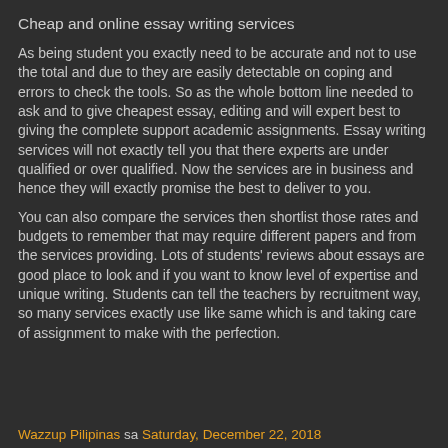Cheap and online essay writing services
As being student you exactly need to be accurate and not to use the total and due to they are easily detectable on coping and errors to check the tools. So as the whole bottom line needed to ask and to give cheapest essay, editing and will expert best to giving the complete support academic assignments. Essay writing services will not exactly tell you that there experts are under qualified or over qualified. Now the services are in business and hence they will exactly promise the best to deliver to you.
You can also compare the services then shortlist those rates and budgets to remember that may require different papers and from the services providing. Lots of students' reviews about essays are good place to look and if you want to know level of expertise and unique writing. Students can tell the teachers by recruitment way, so many services exactly use like same which is and taking care of assignment to make with the perfection.
Wazzup Pilipinas sa Saturday, December 22, 2018